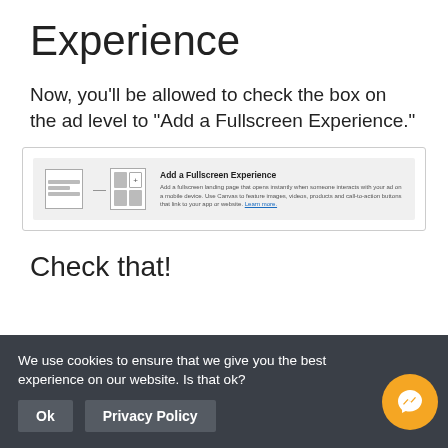Experience
Now, you'll be allowed to check the box on the ad level to “Add a Fullscreen Experience.”
[Figure (screenshot): Screenshot of a Facebook ad interface showing the 'Add a Fullscreen Experience' checkbox option with description text and a Learn more link.]
Check that!
We use cookies to ensure that we give you the best experience on our website. Is that ok?
Ok    Privacy Policy